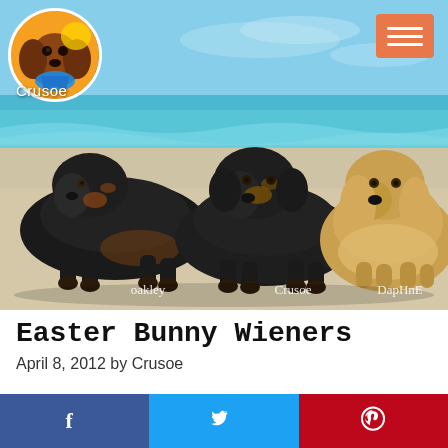[Figure (photo): Three dachshund dogs lying on a beach. Left dog is black and tan (Oakley), middle dog is black and tan (Crusoe), right dog is golden/cream long-haired (Daphne). Blue sky and turquoise ocean in background. Names labeled in white cursive: oakley, Crusoe, Daphne. A circular avatar of Crusoe the dachshund is in the top-left corner with the text 'Crusoe' below it. An orange hamburger menu button is in the top-right corner.]
Easter Bunny Wieners
April 8, 2012 by Crusoe
[Figure (infographic): Social sharing bar with three buttons: Facebook (blue, f icon), Twitter (light blue, bird icon), Pinterest (red, P icon)]